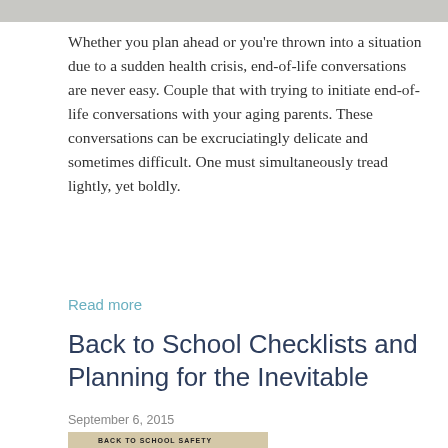[Figure (photo): Partial top image cropped at top of page, showing people and a logo/text in upper right]
Whether you plan ahead or you're thrown into a situation due to a sudden health crisis, end-of-life conversations are never easy. Couple that with trying to initiate end-of-life conversations with your aging parents. These conversations can be excruciatingly delicate and sometimes difficult. One must simultaneously tread lightly, yet boldly.
Read more
Back to School Checklists and Planning for the Inevitable
September 6, 2015
[Figure (photo): Back to School Safety Checklist image showing students near school entrance]